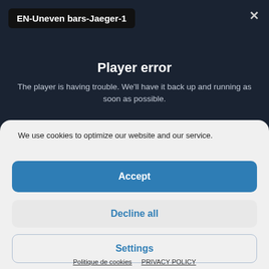EN-Uneven bars-Jaeger-1
Player error
The player is having trouble. We'll have it back up and running as soon as possible.
We use cookies to optimize our website and our service.
Accept
Decline all
Settings
Politique de cookies  PRIVACY POLICY